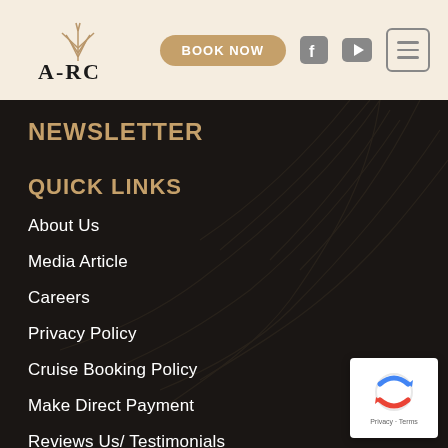[Figure (logo): ARC logo with stylized wheat/grass icon above text 'ARC' in serif font]
NEWSLETTER
QUICK LINKS
About Us
Media Article
Careers
Privacy Policy
Cruise Booking Policy
Make Direct Payment
Reviews Us/ Testimonials